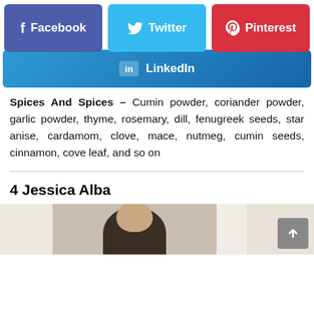[Figure (screenshot): Social share buttons: Facebook (purple), Twitter (blue), Pinterest (red) in a row]
[Figure (screenshot): LinkedIn share button (gradient blue), full width]
Spices And Spices – Cumin powder, coriander powder, garlic powder, thyme, rosemary, dill, fenugreek seeds, star anise, cardamom, clove, mace, nutmeg, cumin seeds, cinnamon, cove leaf, and so on
4 Jessica Alba
[Figure (photo): Photo of Jessica Alba, partially cropped, showing face and upper body. Multiple image panels in a strip at bottom of page.]